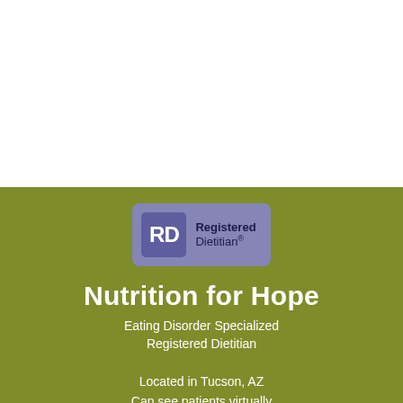[Figure (logo): RD Registered Dietitian logo badge - purple/lavender rounded rectangle with white 'RD' text and 'Registered Dietitian®' label on olive green background]
Nutrition for Hope
Eating Disorder Specialized Registered Dietitian
Located in Tucson, AZ Can see patients virtually anywhere!